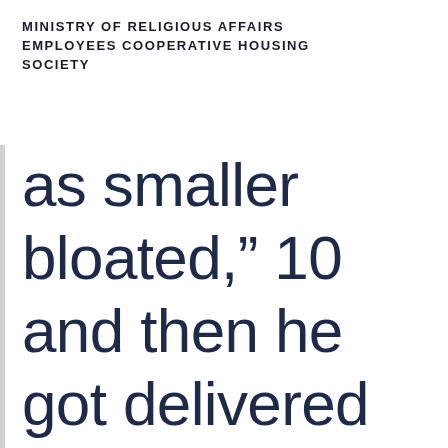MINISTRY OF RELIGIOUS AFFAIRS EMPLOYEES COOPERATIVE HOUSING SOCIETY
as smaller bloated,” 10 and then he got delivered an email to help you an other affiliate stating “great photos ? I